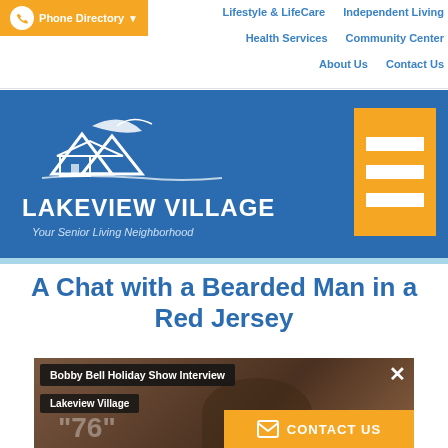Phone Directory | Lifestyle & LifeCare | Independent Living | Health Services | Community Center | About Us | Contact Us
[Figure (logo): Lakeview Village logo — white house/mountain/leaf illustration above text 'LAKEVIEW VILLAGE' and tagline 'Your Senior Living Neighborhood' on a blue background]
A Chat with a Bearded Man in a Red Jersey
[Figure (screenshot): Video embed thumbnail showing 'Bobby Bell Holiday Show Interview' and 'Lakeview Village' overlay labels, with a man wearing glasses visible in a home setting with '76' jersey in background. An X close button and orange CONTACT US button overlay.]